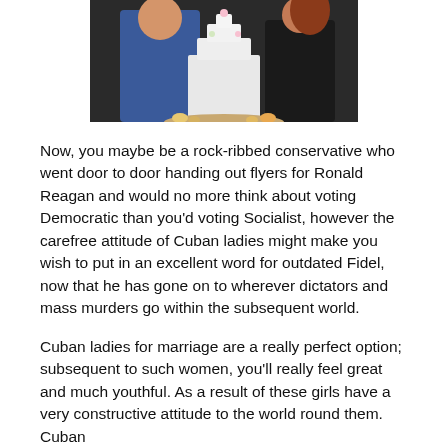[Figure (photo): Two people standing next to a tall multi-tiered white wedding cake decorated with flowers, on a table with small pastries around the base. One person is wearing blue, another is in black.]
Now, you maybe be a rock-ribbed conservative who went door to door handing out flyers for Ronald Reagan and would no more think about voting Democratic than you'd voting Socialist, however the carefree attitude of Cuban ladies might make you wish to put in an excellent word for outdated Fidel, now that he has gone on to wherever dictators and mass murders go within the subsequent world.
Cuban ladies for marriage are a really perfect option; subsequent to such women, you'll really feel great and much youthful. As a result of these girls have a very constructive attitude to the world round them. Cuban